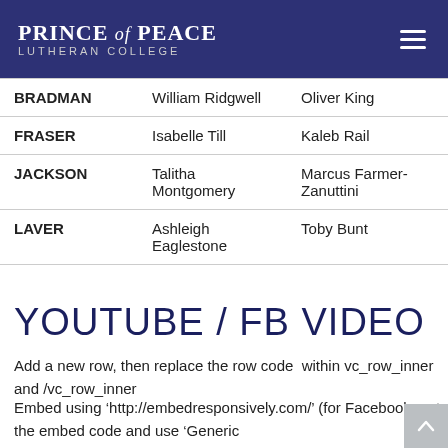PRINCE of PEACE LUTHERAN COLLEGE
| House | Col2 | Col3 |
| --- | --- | --- |
| BRADMAN | William Ridgwell | Oliver King |
| FRASER | Isabelle Till | Kaleb Rail |
| JACKSON | Talitha Montgomery | Marcus Farmer-Zanuttini |
| LAVER | Ashleigh Eaglestone | Toby Bunt |
YOUTUBE / FB VIDEO
Add a new row, then replace the row code within vc_row_inner and /vc_row_inner
Embed using ‘http://embedresponsively.com/’ (for Facebook, get the embed code and use ‘Generic